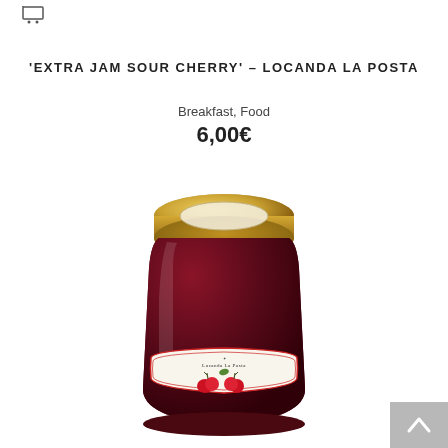[Figure (logo): Shopping cart icon in top left]
'EXTRA JAM SOUR CHERRY' – LOCANDA LA POSTA
Breakfast, Food
6,00€
[Figure (photo): A jar of sour cherry extra jam with a gold lid and a white label showing 'Locanda La Posta' branding with strawberry/cherry illustrations at the bottom.]